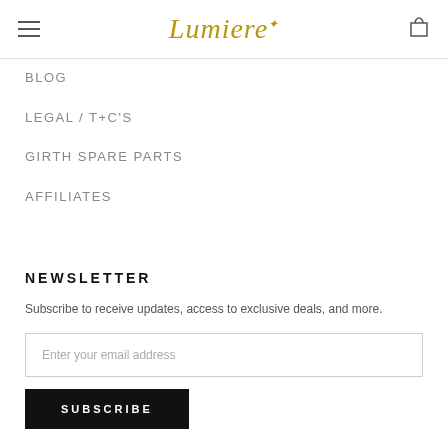Lumiere
BLOG
LEGAL / T+C'S
GIRTH SPARE PARTS
AFFILIATES
NEWSLETTER
Subscribe to receive updates, access to exclusive deals, and more.
Enter your email address
SUBSCRIBE